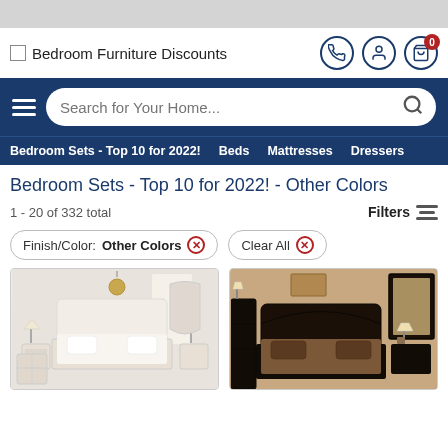[Figure (screenshot): Top gray browser bar]
Bedroom Furniture Discounts
[Figure (screenshot): Search bar with 'Search for Your Home...' placeholder on navy background with hamburger menu]
Bedroom Sets - Top 10 for 2022! | Beds | Mattresses | Dressers
Bedroom Sets - Top 10 for 2022! - Other Colors
1 - 20 of 332 total
Filters
Finish/Color: Other Colors ×
Clear All ×
[Figure (photo): White/cream bedroom furniture set with ornate headboard, dresser, and nightstands]
[Figure (photo): Dark espresso bedroom furniture set with sleigh bed, dresser with mirror]